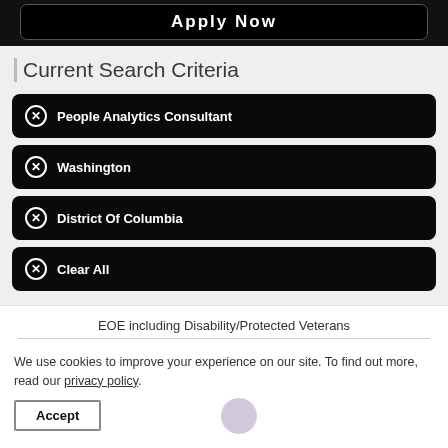[Figure (screenshot): Apply Now button, dark/black background with white text]
Current Search Criteria
People Analytics Consultant
Washington
District Of Columbia
Clear All
EOE including Disability/Protected Veterans
We use cookies to improve your experience on our site. To find out more, read our privacy policy.
Accept